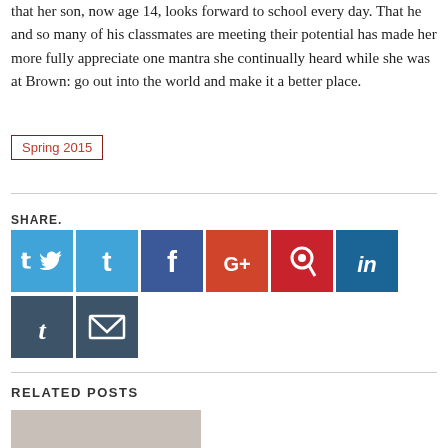that her son, now age 14, looks forward to school every day. That he and so many of his classmates are meeting their potential has made her more fully appreciate one mantra she continually heard while she was at Brown: go out into the world and make it a better place.
Spring 2015
SHARE.
[Figure (infographic): Social share buttons: Twitter (blue), Facebook (dark blue), Google+ (orange-red), Pinterest (red), LinkedIn (dark blue), Tumblr (dark slate), Email (dark slate)]
RELATED POSTS
[Figure (photo): Partial photo of a person, visible from shoulders up, cut off at bottom of page]